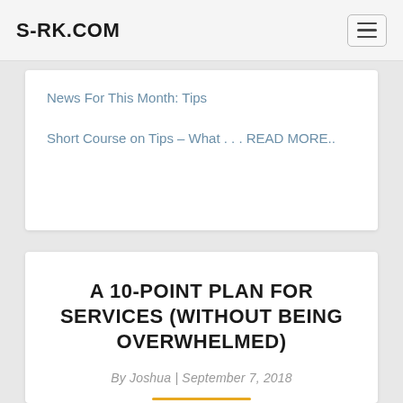S-RK.COM
News For This Month: Tips
Short Course on Tips – What . . . READ MORE..
A 10-POINT PLAN FOR SERVICES (WITHOUT BEING OVERWHELMED)
By Joshua | September 7, 2018